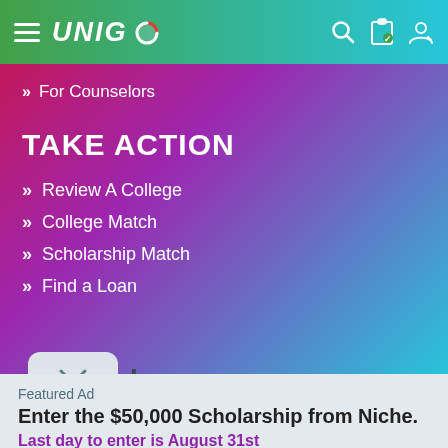UNIGO — navigation bar with hamburger menu, logo, search, bookmark, and profile icons
For Counselors
TAKE ACTION
Review A College
College Match
Scholarship Match
Find a Loan
Featured Ad
Enter the $50,000 Scholarship from Niche.
Last day to enter is August 31st
APPLY NOW!